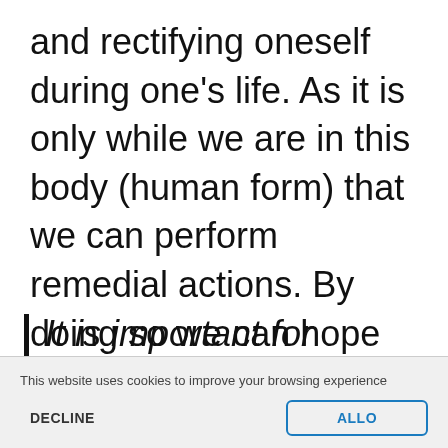and rectifying oneself during one's life. As it is only while we are in this body (human form) that we can perform remedial actions. By doing so we can hope for a favorable final verdict in the other world.
It is important for everyone to introspect each day to determine
This website uses cookies to improve your browsing experience
DECLINE
ALLO